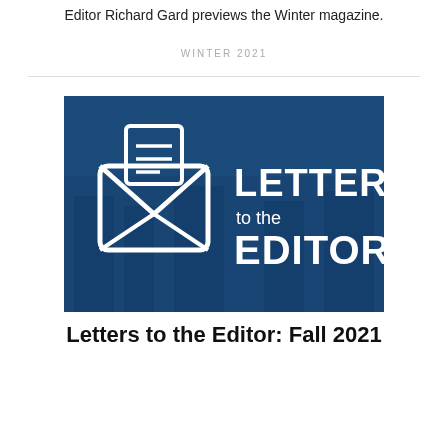Editor Richard Gard previews the Winter magazine.
WINTER 2021
[Figure (illustration): Blue banner image with white envelope/letter icon on the left and bold white text reading 'LETTERS to the EDITOR' on the right, on a dark blue background with a faint building photograph behind it.]
Letters to the Editor: Fall 2021